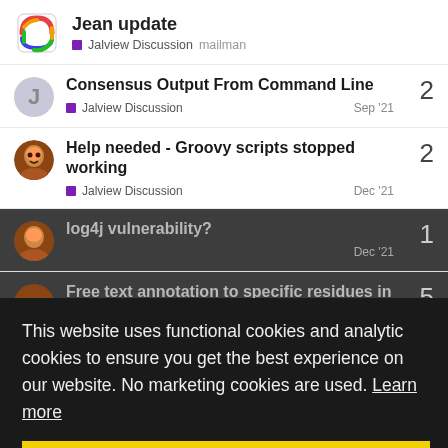Jean update — Jalview Discussion mailman
Consensus Output From Command Line — Jalview Discussion — Sep '21 — 2 replies
Help needed - Groovy scripts stopped working — Jalview Discussion — Dec '21 — 2 replies
log4j vulnerability? — Dec '21 — 1 reply
Free text annotation to specific residues in alignments — Jalview Discussion — Jan 17 — 5 replies
This website uses functional cookies and analytic cookies to ensure you get the best experience on our website. No marketing cookies are used. Learn more
Okay
Want to read more? Browse other topics in Jalview Discussion or view latest topics.